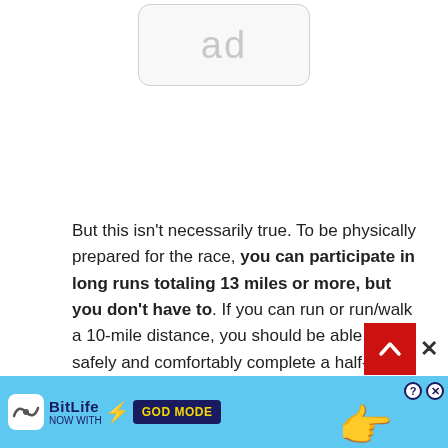[Figure (other): Ad placeholder box with 'ad' text in light gray, rounded rectangle outline]
But this isn't necessarily true. To be physically prepared for the race, you can participate in long runs totaling 13 miles or more, but you don't have to. If you can run or run/walk a 10-mile distance, you should be able to safely and comfortably complete a half-marathon.
Do marathon runners run the whole time?
Training may involve a long run on the weekends, wit
[Figure (other): BitLife banner advertisement - 'NOW WITH GOD MODE' on blue background with hand graphic, help and close buttons]
[Figure (other): Red scroll-to-top button with white chevron arrow, and X close button]